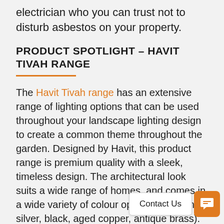electrician who you can trust not to disturb asbestos on your property.
PRODUCT SPOTLIGHT – HAVIT TIVAH RANGE
The Havit Tivah range has an extensive range of lighting options that can be used throughout your landscape lighting design to create a common theme throughout the garden. Designed by Havit, this product range is premium quality with a sleek, timeless design. The architectural look suits a wide range of homes, and comes in a wide variety of colour options (titanium, silver, [black, aged copper, antique brass). The Tiv[ah range] comes in 316 marine grade stainless steel which is